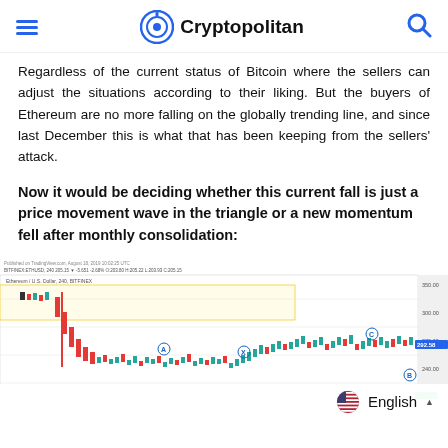Cryptopolitan
Regardless of the current status of Bitcoin where the sellers can adjust the situations according to their liking. But the buyers of Ethereum are no more falling on the globally trending line, and since last December this is what that has been keeping from the sellers' attack.
Now it would be deciding whether this current fall is just a price movement wave in the triangle or a new momentum fell after monthly consolidation:
[Figure (continuous-plot): Ethereum / U.S. Dollar 240-minute candlestick chart from BITFINEX showing ETH price action with a yellow highlighted resistance zone, red downward trend, and green recovery with labeled Elliott wave points (A), (X), (C). Price around 205.15. Published on TradingView.com, August 18, 2019.]